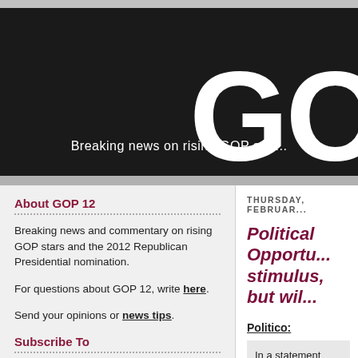GO [site header/banner with title starting GO...]
Breaking news on rising GOP star...
About GOP 12
Breaking news and commentary on rising GOP stars and the 2012 Republican Presidential nomination.
For questions about GOP 12, write here.
Send your opinions or news tips.
Subscribe To
Posts
THURSDAY, FEBRUAR...
Political Opportu... stimulus, but wil...
Politico:
In a statement coordinat... who chairs the Republic... Louisiana Gov. Bobby Ji... Sarah Palin took a bar...